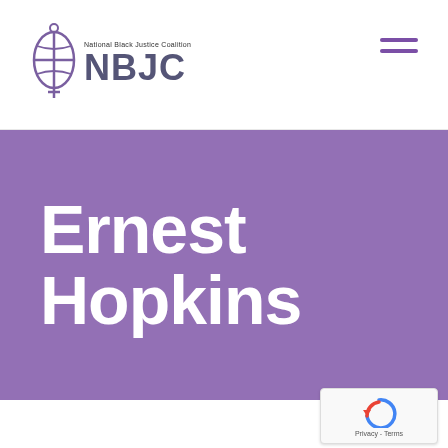[Figure (logo): NBJC - National Black Justice Coalition logo with stylized cross/globe icon and text]
[Figure (other): Hamburger menu icon (two horizontal purple lines)]
Ernest Hopkins
[Figure (other): reCAPTCHA widget with Google logo and Privacy - Terms text]